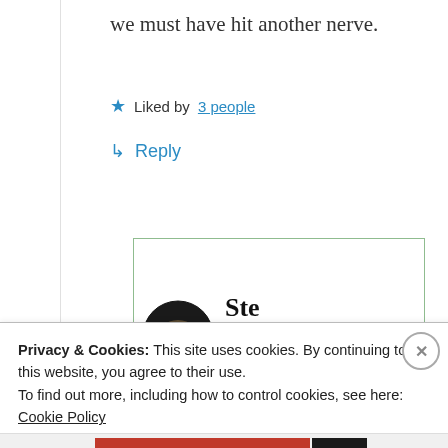we must have hit another nerve.
Liked by 3 people
Reply
[Figure (photo): Circular avatar image of a user, showing what appears to be a frog or amphibian face, dark background]
SteveInC
Privacy & Cookies: This site uses cookies. By continuing to use this website, you agree to their use. To find out more, including how to control cookies, see here: Cookie Policy
Close and accept